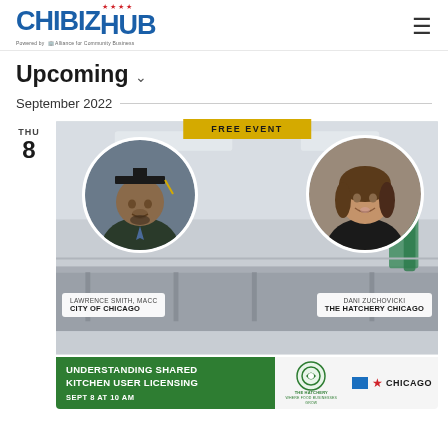[Figure (logo): ChiBizHub logo with red stars and subtitle 'Powered by Alliance for Community Business']
Upcoming ∨
September 2022
THU 8
[Figure (infographic): Free Event banner with two speakers: Lawrence Smith, MACC - City of Chicago and Dani Zuchovicki - The Hatchery Chicago. Event: Understanding Shared Kitchen User Licensing, Sept 8 at 10 AM. Logos for The Hatchery and Chicago.]